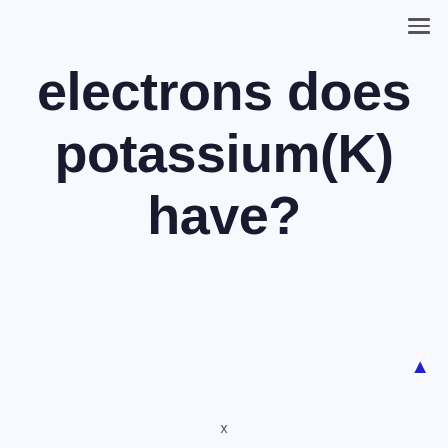electrons does potassium(K) have?